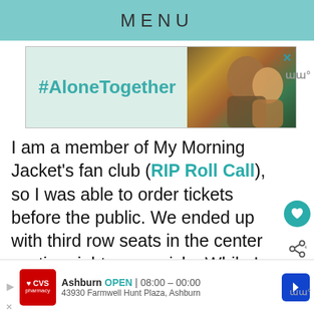MENU
[Figure (screenshot): #AloneTogether ad banner with photo of man and child waving]
I am a member of My Morning Jacket’s fan club (RIP Roll Call), so I was able to order tickets before the public. We ended up with third row seats in the center section right on an aisle. While I doubt there’s any bad seat at Red Hat, this was a perfect location for being there with a child: nor far from bathrooms, able to peek over heads at the edge of the crowd to see the show, quick access to the exit in case of a situation.
[Figure (screenshot): CVS Pharmacy ad: Ashburn OPEN 08:00 - 00:00, 43930 Farmwell Hunt Plaza, Ashburn]